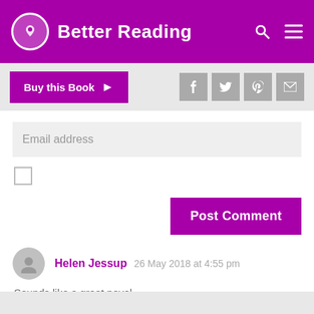Better Reading
[Figure (screenshot): Buy this Book button with purple background and right arrow, plus social share icons for Facebook, Twitter, Pinterest, and Email]
Email address
[Figure (other): Empty checkbox]
[Figure (other): Post Comment button with purple background]
Helen Jessup   26 May 2018 at 4:55 pm
Sounds like a great novel